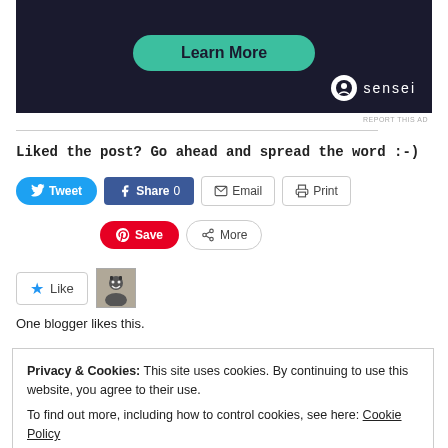[Figure (screenshot): Dark advertisement banner with 'Learn More' teal button and 'sensei' logo in bottom right corner]
REPORT THIS AD
Liked the post? Go ahead and spread the word :-)
[Figure (screenshot): Social sharing buttons row: Tweet, Share 0, Email, Print]
[Figure (screenshot): Social sharing buttons row 2: Save (Pinterest), More]
[Figure (screenshot): Like button with star icon and blogger avatar thumbnail]
One blogger likes this.
Privacy & Cookies: This site uses cookies. By continuing to use this website, you agree to their use.
To find out more, including how to control cookies, see here: Cookie Policy